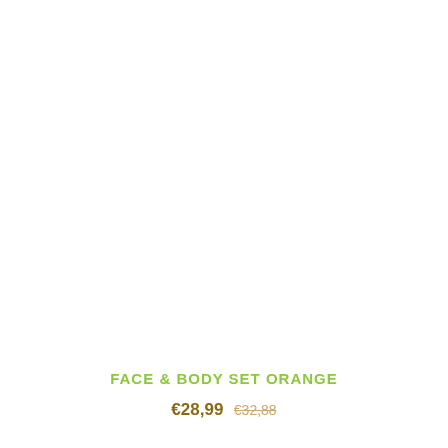[Figure (photo): Product photo area — white/blank background where a face & body set orange product image would appear]
FACE & BODY SET ORANGE
€28,99  €32,88